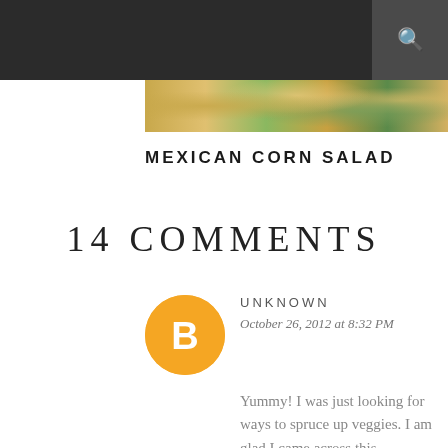[Figure (photo): Close-up photo of Mexican corn salad dish with colorful vegetables]
MEXICAN CORN SALAD
14 COMMENTS
UNKNOWN
October 26, 2012 at 8:32 PM
Yummy! I was just looking for ways to spruce up veggies. I am glad I came across this.